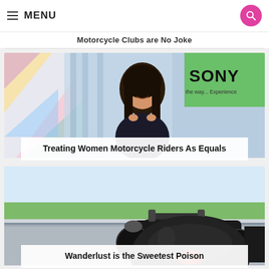MENU
Motorcycle Clubs are No Joke
[Figure (photo): Woman with dark hair smiling in front of a Sony branded green backdrop]
Treating Women Motorcycle Riders As Equals
[Figure (photo): Black motorcycle with Bell helmet in foreground on a road]
Wanderlust is the Sweetest Poison